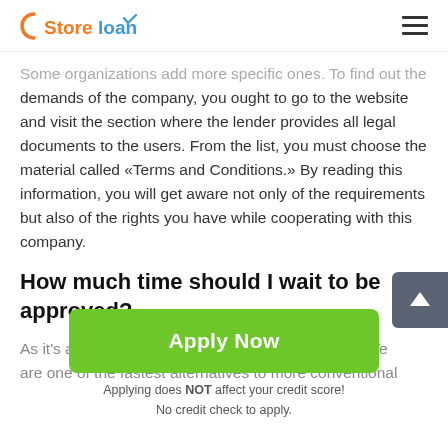Store loan
Some organizations add more specific ones. To find out the demands of the company, you ought to go to the website and visit the section where the lender provides all legal documents to the users. From the list, you must choose the material called «Terms and Conditions.» By reading this information, you will get aware not only of the requirements but also of the rights you have while cooperating with this company.
How much time should I wait to be approved?
As it's already stated, title loans in Mineral Wells of Te... are one of the fastest alternatives to more conventional
[Figure (other): Green Apply Now button with white text]
Applying does NOT affect your credit score!
No credit check to apply.